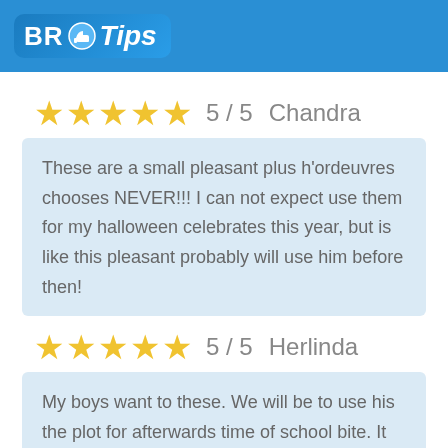BR Tips
★★★★★  5 / 5   Chandra
These are a small pleasant plus h'ordeuvres chooses NEVER!!! I can not expect use them for my halloween celebrates this year, but is like this pleasant probably will use him before then!
★★★★★  5 / 5   Herlinda
My boys want to these. We will be to use his the plot for afterwards time of school bite. It was like